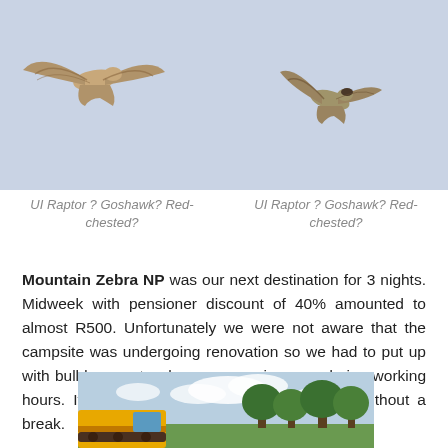[Figure (photo): Two birds of prey (raptors) in flight against a pale blue-grey sky, side by side. Left bird has wings spread, right bird is banking.]
UI Raptor ? Goshawk? Red-chested?
UI Raptor ? Goshawk? Red-chested?
Mountain Zebra NP was our next destination for 3 nights. Midweek with pensioner discount of 40% amounted to almost R500. Unfortunately we were not aware that the campsite was undergoing renovation so we had to put up with bulldozers etc when we were in camp during working hours. It meant we spent all day in the park without a break.
[Figure (photo): Outdoor scene showing a yellow bulldozer or construction vehicle parked near trees with a partly cloudy sky background, at a campsite.]